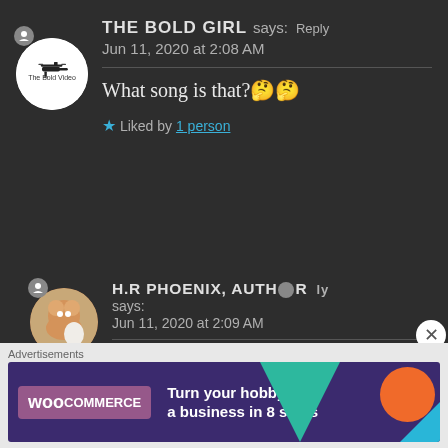THE BOLD GIRL says: Reply
Jun 11, 2020 at 2:08 AM
What song is that?🤔🤔
★ Liked by 1 person
H.R PHOENIX, AUTHOR says:
Jun 11, 2020 at 2:09 AM
Treat yourself by Piper Rockelle. Yes, I still watch her
Advertisements
[Figure (screenshot): WooCommerce advertisement banner: Turn your hobby into a business in 8 steps]